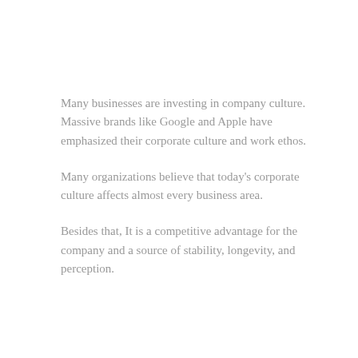Many businesses are investing in company culture. Massive brands like Google and Apple have emphasized their corporate culture and work ethos.
Many organizations believe that today's corporate culture affects almost every business area.
Besides that, It is a competitive advantage for the company and a source of stability, longevity, and perception.